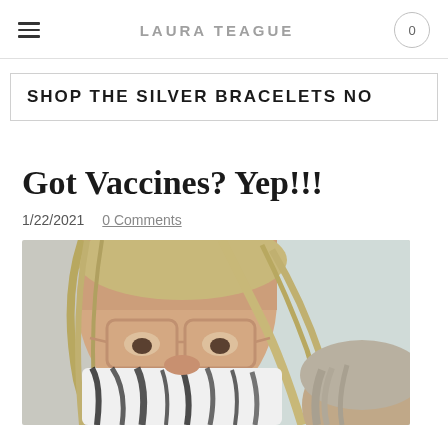LAURA TEAGUE
SHOP THE SILVER BRACELETS NO
Got Vaccines? Yep!!!
1/22/2021   0 Comments
[Figure (photo): A selfie-style photo of an older woman with blonde/gray hair and glasses wearing a zebra-print face mask, with another person partially visible beside her.]